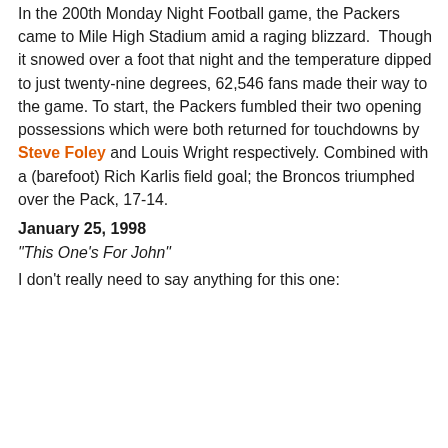In the 200th Monday Night Football game, the Packers came to Mile High Stadium amid a raging blizzard. Though it snowed over a foot that night and the temperature dipped to just twenty-nine degrees, 62,546 fans made their way to the game. To start, the Packers fumbled their two opening possessions which were both returned for touchdowns by Steve Foley and Louis Wright respectively. Combined with a (barefoot) Rich Karlis field goal; the Broncos triumphed over the Pack, 17-14.
January 25, 1998
"This One's For John"
I don't really need to say anything for this one: